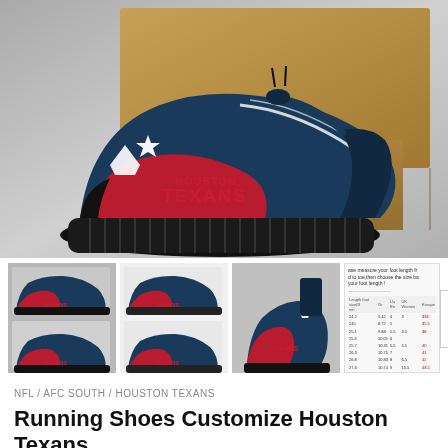[Figure (photo): Main product photo of Houston Texans custom running shoes (Yeezy-style) in navy blue and red with the Texans logo and 'HOUSTON TEXANS' text on the side, placed in front of a cardboard box on a gray background]
[Figure (photo): Thumbnail 1: Two views of the Houston Texans running shoes from the side on a gray background]
[Figure (photo): Thumbnail 2: Two views of the Houston Texans running shoes on a white background]
[Figure (photo): Thumbnail 3: Single view of the Houston Texans running shoe from the side on a gray background]
[Figure (table-as-image): Size chart thumbnail showing foot length measurements in mm and corresponding shoe sizes]
NFL / AFC SOUTH / HOUSTON TEXANS
Running Shoes Customize Houston Texans